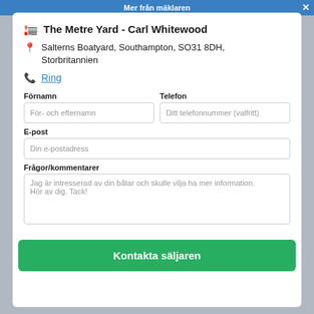Mer från mäklaren
The Metre Yard - Carl Whitewood
Salterns Boatyard, Southampton, SO31 8DH, Storbritannien
Ring
Förnamn
Fält: För- och efternamn
Telefon
Fält: Ditt telefonnummer (valfritt)
E-post
Fält: Din e-postadress
Frågor/kommentarer
Jag är intresserad av din båtar och skulle vilja ha mer information. Hör av dig. Tack!
Kontakta säljaren